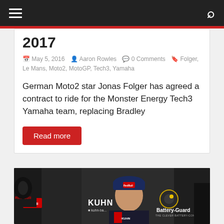Navigation bar with hamburger menu and search icon
2017
May 5, 2016  Aaron Rowles  0 Comments  Folger, Le Mans, Moto2, MotoGP, Tech3, Yamaha
German Moto2 star Jonas Folger has agreed a contract to ride for the Monster Energy Tech3 Yamaha team, replacing Bradley
Read more
[Figure (photo): Photo of a motorcycle racer wearing a Red Bull cap with KUHN branding and Battery-Guard signage visible in the background]